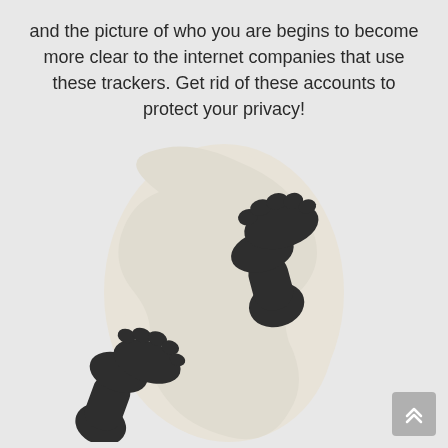and the picture of who you are begins to become more clear to the internet companies that use these trackers. Get rid of these accounts to protect your privacy!
[Figure (illustration): Two dark shoe footprints arranged in a walking pattern, overlaid on a large light beige/cream blob shape, against a light gray background. The footprints are dark charcoal/near-black colored shoe soles.]